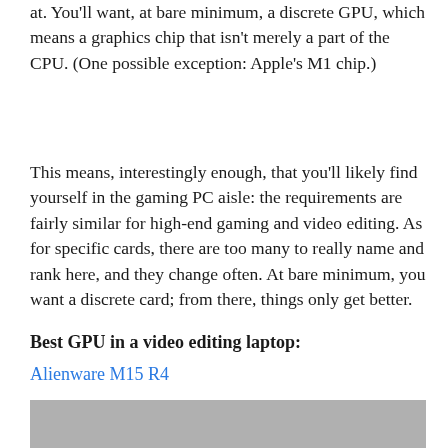at. You'll want, at bare minimum, a discrete GPU, which means a graphics chip that isn't merely a part of the CPU. (One possible exception: Apple's M1 chip.)
This means, interestingly enough, that you'll likely find yourself in the gaming PC aisle: the requirements are fairly similar for high-end gaming and video editing. As for specific cards, there are too many to really name and rank here, and they change often. At bare minimum, you want a discrete card; from there, things only get better.
Best GPU in a video editing laptop:
Alienware M15 R4
[Figure (photo): Partial image of a laptop, likely the Alienware M15 R4, showing the top portion of the device.]